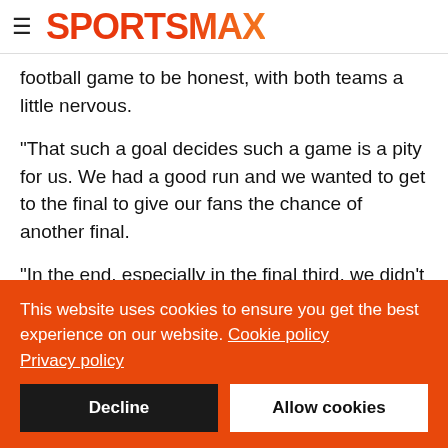SPORTSMAX
football game to be honest, with both teams a little nervous.
"That such a goal decides such a game is a pity for us. We had a good run and we wanted to get to the final to give our fans the chance of another final.
"In the end, especially in the final third, we didn't have good moments. We couldn't get a shot on goal and this is not enough. We had the chance to get to the final. We'll try again next year."
This website uses cookies to ensure you get the best experience on our website. Cookie policy Privacy policy
Decline
Allow cookies